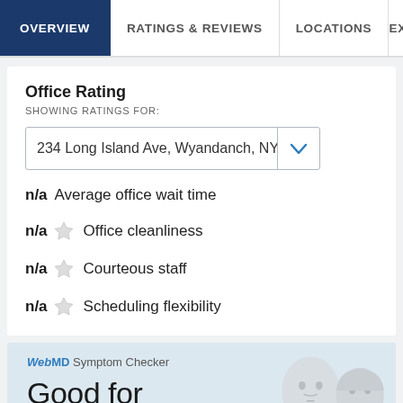OVERVIEW | RATINGS & REVIEWS | LOCATIONS | EX
Office Rating
SHOWING RATINGS FOR:
234 Long Island Ave, Wyandanch, NY
n/a Average office wait time
n/a ☆ Office cleanliness
n/a ☆ Courteous staff
n/a ☆ Scheduling flexibility
[Figure (illustration): WebMD Symptom Checker advertisement with two 3D rendered human head figures (male and female) and text 'Good for']